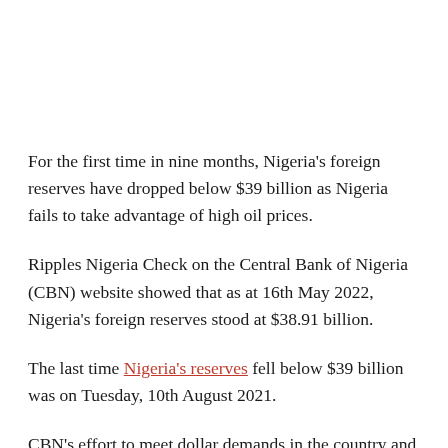For the first time in nine months, Nigeria's foreign reserves have dropped below $39 billion as Nigeria fails to take advantage of high oil prices.
Ripples Nigeria Check on the Central Bank of Nigeria (CBN) website showed that as at 16th May 2022, Nigeria's foreign reserves stood at $38.91 billion.
The last time Nigeria's reserves fell below $39 billion was on Tuesday, 10th August 2021.
CBN's effort to meet dollar demands in the country and